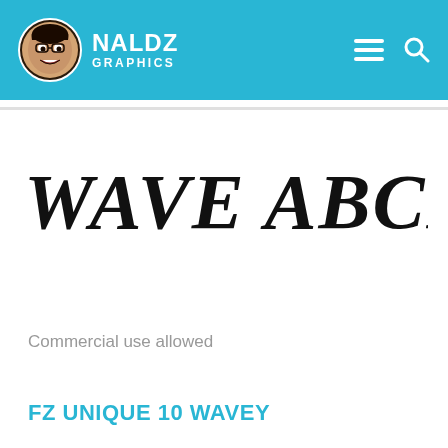NALDZ GRAPHICS
[Figure (illustration): Large decorative font display showing 'WAVE ABCDEFG' in a wavy bold black font style]
Commercial use allowed
FZ UNIQUE 10 WAVEY